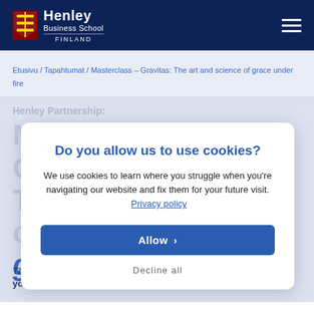Henley Business School FINLAND
Etusivu / Tapahtumat / Masterclass – Gravitas: The art and science of grace under fire
Henley Partnership: Masterclass – Gravitas: The art and science of grace under fire
Do you allow us to use cookies? We use cookies to learn where you struggle when you're navigating our website and fix them for your future visit. Privacy policy
Allow
Decline all
This online masterclass provides a toolkit for centring yourself, so you can embody leadership in an